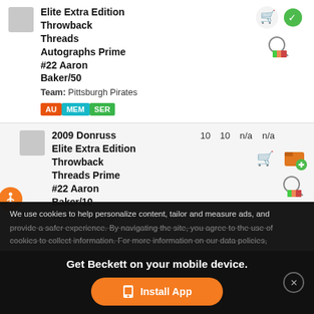Elite Extra Edition Throwback Threads Autographs Prime #22 Aaron Baker/50
Team: Pittsburgh Pirates
AU MEM SER
2009 Donruss Elite Extra Edition Throwback Threads Prime #22 Aaron Baker/10
Team: Pittsburgh Pirates
10  10  n/a  n/a
We use cookies to help personalize content, tailor and measure ads, and provide a safer experience. By navigating the site, you agree to the use of cookies to collect information. For more information on our data policies, please visit our Privacy Policy.
Get Beckett on your mobile device.
Install App